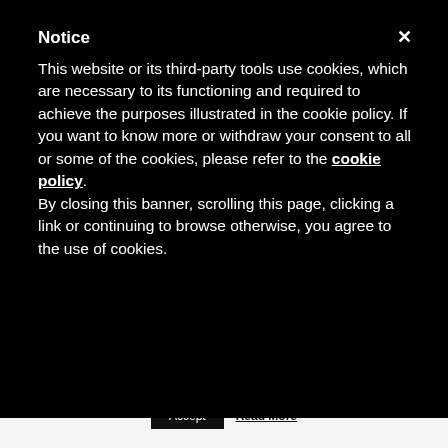Notice
This website or its third-party tools use cookies, which are necessary to its functioning and required to achieve the purposes illustrated in the cookie policy. If you want to know more or withdraw your consent to all or some of the cookies, please refer to the cookie policy. By closing this banner, scrolling this page, clicking a link or continuing to browse otherwise, you agree to the use of cookies.
from the interview.
Thanks for watching and posting a comment.
Reply
This website uses cookies to improve your experience. We'll assume you're ok with this, but you can opt-out if you wish.
Accept
Read More